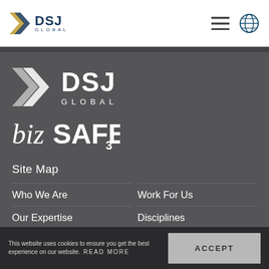DSJ Global — navigation header with logo, menu and globe icons
[Figure (logo): DSJ Global large white logo with chevron arrow mark]
[Figure (logo): bizSAFE3 certification logo in white]
Site Map
Who We Are
Work For Us
Our Expertise
Disciplines
Job Search
This website uses cookies to ensure you get the best experience on our website. READ MORE
ACCEPT